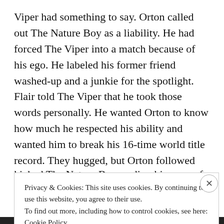Viper had something to say. Orton called out The Nature Boy as a liability. He had forced The Viper into a match because of his ego. He labeled his former friend washed-up and a junkie for the spotlight. Flair told The Viper that he took those words personally. He wanted Orton to know how much he respected his ability and wanted him to break his 16-time world title record. They hugged, but Orton followed through by catching his mentor with a low blow. The Viper punt-
Privacy & Cookies: This site uses cookies. By continuing to use this website, you agree to their use. To find out more, including how to control cookies, see here: Cookie Policy
Close and accept